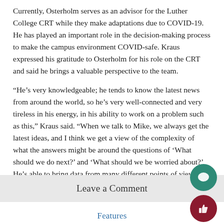Currently, Osterholm serves as an advisor for the Luther College CRT while they make adaptations due to COVID-19. He has played an important role in the decision-making process to make the campus environment COVID-safe. Kraus expressed his gratitude to Osterholm for his role on the CRT and said he brings a valuable perspective to the team.
“He’s very knowledgeable; he tends to know the latest news from around the world, so he’s very well-connected and very tireless in his energy, in his ability to work on a problem such as this,” Kraus said. “When we talk to Mike, we always get the latest ideas, and I think we get a view of the complexity of what the answers might be around the questions of ‘What should we do next?’ and ‘What should we be worried about?’ He’s able to bring data from many different points of view together to help advise the college and we’re very grateful for that.”
Leave a Comment
Features